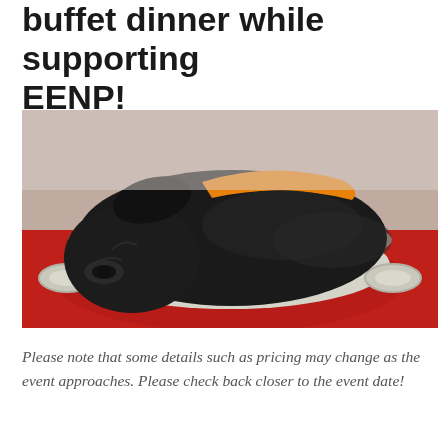buffet dinner while supporting EENP!
[Figure (photo): A small black newborn puppy wearing an orange collar, curled up and sleeping inside a red metal colander/bowl placed on a red cloth surface.]
Please note that some details such as pricing may change as the event approaches. Please check back closer to the event date!